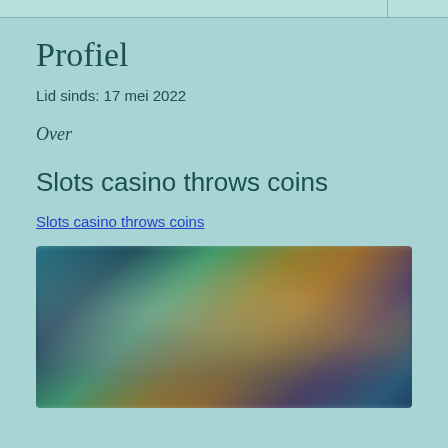Profiel
Lid sinds: 17 mei 2022
Over
Slots casino throws coins
Slots casino throws coins
[Figure (photo): Blurred screenshot of a slots casino game interface showing various colorful game icons and characters]